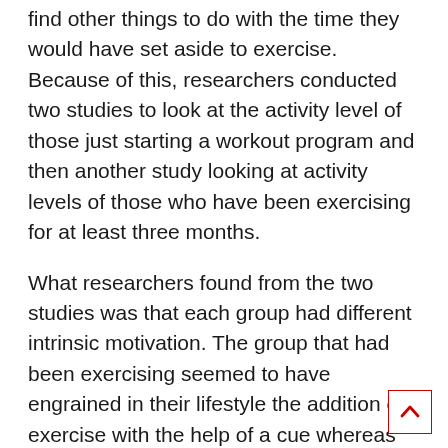find other things to do with the time they would have set aside to exercise. Because of this, researchers conducted two studies to look at the activity level of those just starting a workout program and then another study looking at activity levels of those who have been exercising for at least three months.
What researchers found from the two studies was that each group had different intrinsic motivation. The group that had been exercising seemed to have engrained in their lifestyle the addition of exercise with the help of a cue whereas the group only just starting out exercising only seemed to want to continue with the program if they enjoyed the process and found it beneficial to their intrinsic motivation. They also found through the data that while having extrinsic reasons for exercising such as losing weight does have its benefits, long-term success